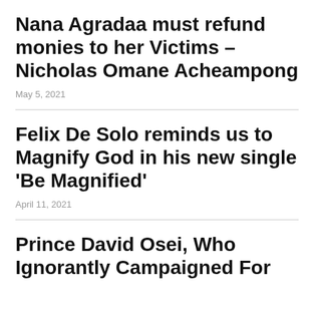Nana Agradaa must refund monies to her Victims – Nicholas Omane Acheampong
May 5, 2021
Felix De Solo reminds us to Magnify God in his new single 'Be Magnified'
April 11, 2021
Prince David Osei, Who Ignorantly Campaigned For